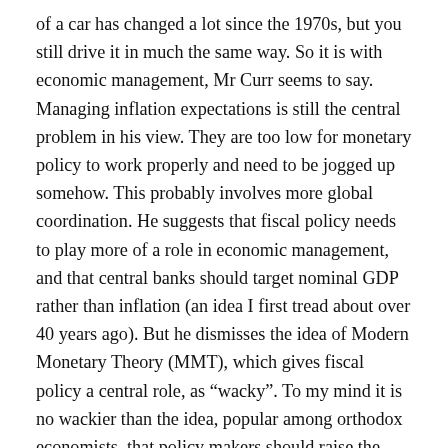of a car has changed a lot since the 1970s, but you still drive it in much the same way. So it is with economic management, Mr Curr seems to say. Managing inflation expectations is still the central problem in his view. They are too low for monetary policy to work properly and need to be jogged up somehow. This probably involves more global coordination. He suggests that fiscal policy needs to play more of a role in economic management, and that central banks should target nominal GDP rather than inflation (an idea I first tread about over 40 years ago). But he dismisses the idea of Modern Monetary Theory (MMT), which gives fiscal policy a central role, as “wacky”. To my mind it is no wackier than the idea, popular among orthodox economists, that policy makers should raise the level of inflation so that negative real interest rates can become a tool of their beloved monetary policy.